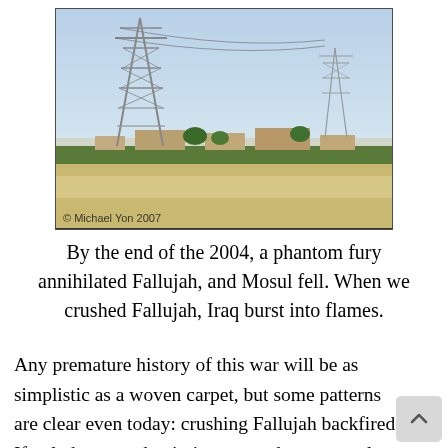[Figure (photo): Outdoor photograph of a flat landscape near Fallujah, Iraq, showing a large electrical transmission tower (pylon) on the left, low buildings and trees in the mid-ground, and another pylon visible on the right side. The sky is pale blue and hazy. A watermark reads '© Michael Yon 2007' in the lower-left corner of the image.]
By the end of the 2004, a phantom fury annihilated Fallujah, and Mosul fell. When we crushed Fallujah, Iraq burst into flames.
Any premature history of this war will be as simplistic as a woven carpet, but some patterns are clear even today: crushing Fallujah backfired. If only because the timing assured a near total Sunni boyc of the fl...